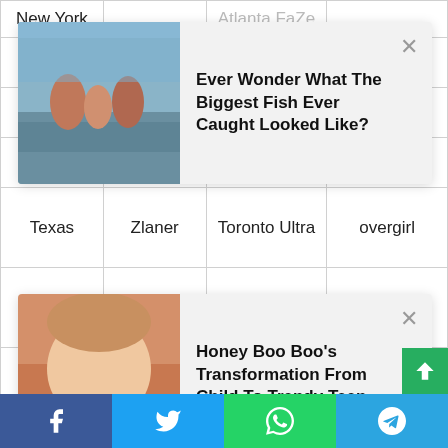| New York |  | Atlanta FaZe |  |
|  | Knight |  | biffle |
|  | S#itasDerron |  | Heisman |
| Opticar | bnly | Toronto Ultra | Chronicle |
| Texas | Zlaner |  | overgirl |
|  | karma |  | royalize |
|  | apathy |  | Crazy |
| LA | HusKerrs | Minnesota | steadfast |
[Figure (infographic): Ad card: Ever Wonder What The Biggest Fish Ever Caught Looked Like?]
[Figure (infographic): Ad card: Honey Boo Boo's Transformation From Child To Trendy Teen]
Facebook | Twitter | WhatsApp | Telegram share bar